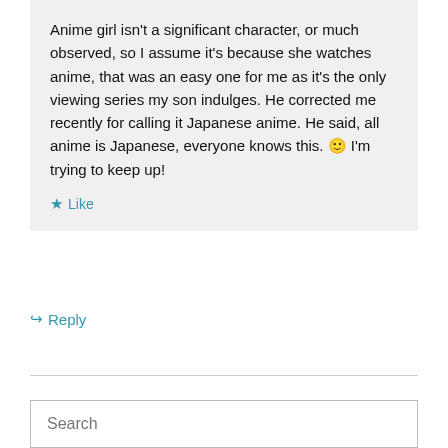Anime girl isn't a significant character, or much observed, so I assume it's because she watches anime, that was an easy one for me as it's the only viewing series my son indulges. He corrected me recently for calling it Japanese anime. He said, all anime is Japanese, everyone knows this. 🙂 I'm trying to keep up!
★ Like
↪ Reply
Search